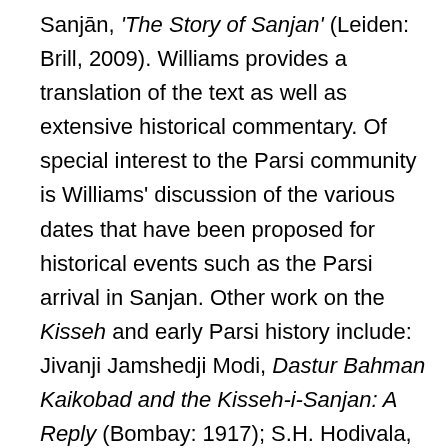Sanjān, 'The Story of Sanjan' (Leiden: Brill, 2009). Williams provides a translation of the text as well as extensive historical commentary. Of special interest to the Parsi community is Williams' discussion of the various dates that have been proposed for historical events such as the Parsi arrival in Sanjan. Other work on the Kisseh and early Parsi history include: Jivanji Jamshedji Modi, Dastur Bahman Kaikobad and the Kisseh-i-Sanjan: A Reply (Bombay: 1917); S.H. Hodivala, Studies in Parsi History (Bombay: 1920); S.K. Hodiwala, Parsis of Ancient India (Bombay, 1920); Modi, A Few Events in the Early History of the Parsis (Bombay: 1922); and H.E. Eduljee, Kisseh-i Sanjan (Bombay: K.R. Cama Oriental Institute, 1991). A discussion of recent archaeological digs in Sanjan—which strengthen the argument that the Parsi arrival in Gujarat was intimately linked to existing maritime